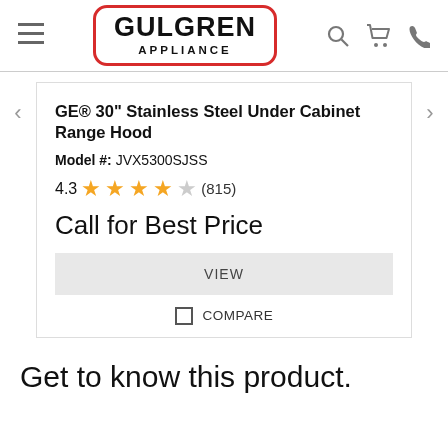[Figure (logo): Gulgren Appliance logo with red rounded rectangle border, hamburger menu icon on left, search, cart, and phone icons on right]
GE® 30" Stainless Steel Under Cabinet Range Hood
Model #: JVX5300SJSS
4.3 ★★★★☆ (815)
Call for Best Price
VIEW
COMPARE
Get to know this product.